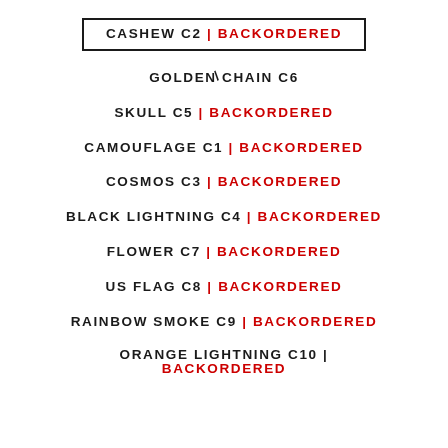CASHEW C2 | BACKORDERED
GOLDEN CHAIN C6
SKULL C5 | BACKORDERED
CAMOUFLAGE C1 | BACKORDERED
COSMOS C3 | BACKORDERED
BLACK LIGHTNING C4 | BACKORDERED
FLOWER C7 | BACKORDERED
US FLAG C8 | BACKORDERED
RAINBOW SMOKE C9 | BACKORDERED
ORANGE LIGHTNING C10 | BACKORDERED